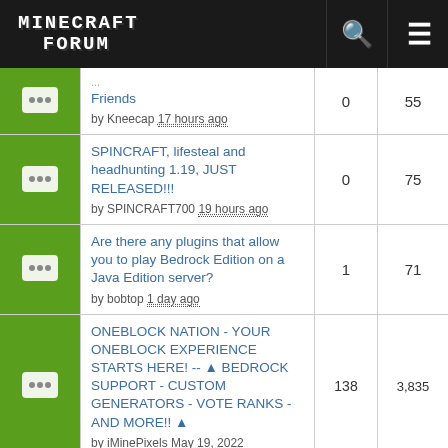MINECRAFT FORUM
Friends by Kneecap 17 hours ago | replies: 0 | views: 55
SPINCRAFT, lifesteal and headhunting 1.19, JUST RELEASED!!! by SPINCRAFT700 19 hours ago | replies: 0 | views: 75
Are there any plugins that allow you to play Bedrock Edition on a Java Edition server? by bobtop 1 day ago | replies: 1 | views: 71
ONEBLOCK NATION - YOUR ONEBLOCK EXPERIENCE STARTS HERE! -- BEDROCK SUPPORT - CUSTOM GENERATORS - VOTE RANKS - AND MORE!! by iMinePixels May 19, 2022 | replies: 138 | views: 3,835
SMP by user_100210987 19 hours ago | replies: 0 | views: 58
Vanilla 1.19 SMP - Looking for Players! replies: 0 | views: 73